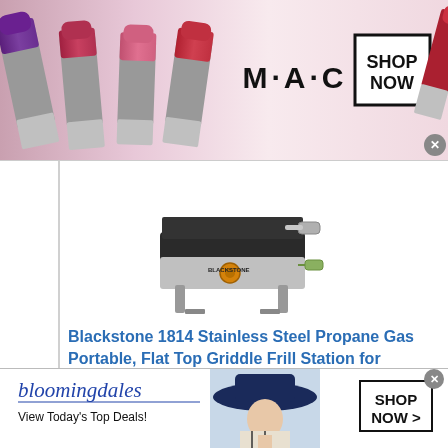[Figure (illustration): MAC cosmetics advertisement banner showing colorful lipsticks on left, MAC logo in center, and SHOP NOW box with close button on right]
[Figure (photo): Blackstone 1814 portable flat top griddle product photo on white background]
Blackstone 1814 Stainless Steel Propane Gas Portable, Flat Top Griddle Frill Station for Kitchen, Camping, Outdoor, Tailgating, Tabletop, Countertop – Heavy Duty & 12, 000 BTUs, 17 Inch, Black
[Figure (illustration): Bloomingdales advertisement banner with logo, tagline 'View Today's Top Deals!', model with hat, SHOP NOW button, and close button]